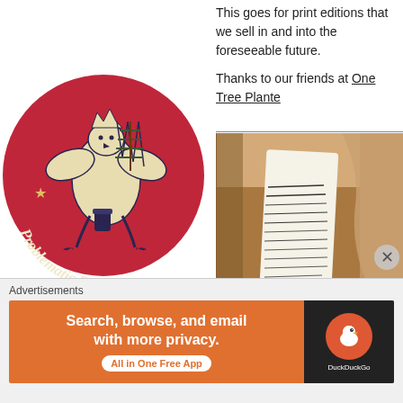This goes for print editions that we sell in and into the foreseeable future.
Thanks to our friends at One Tree Planted
[Figure (logo): Problematic Press logo: circular red badge with a cream-colored winged creature (griffin/hippogriff) carrying a pine tree and an ink pot, with stars and the text 'Problematic Press' along the bottom arc]
[Figure (photo): Photo of an open cardboard shipping box containing what appears to be a book with visible text on its spine, along with brown paper packaging material]
Advertisements
[Figure (screenshot): DuckDuckGo advertisement banner: orange background with text 'Search, browse, and email with more privacy. All in One Free App' on the left; DuckDuckGo logo on dark background on the right]